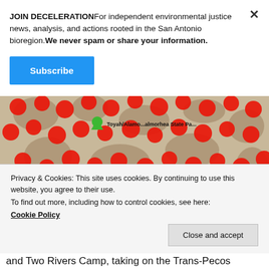JOIN DECELERATIONFor independent environmental justice news, analysis, and actions rooted in the San Antonio bioregion.We never spam or share your information.
Subscribe
[Figure (map): Map screenshot showing a dense cluster of red circles overlaid on a map, with a small green marker near the center-left area labeled 'Toyah/Alamo...almorhea State Pa...' indicating oil and gas well locations near Balmorhea State Park in the Trans-Pecos region of Texas.]
Privacy & Cookies: This site uses cookies. By continuing to use this website, you agree to their use.
To find out more, including how to control cookies, see here:
Cookie Policy
Close and accept
and Two Rivers Camp, taking on the Trans-Pecos